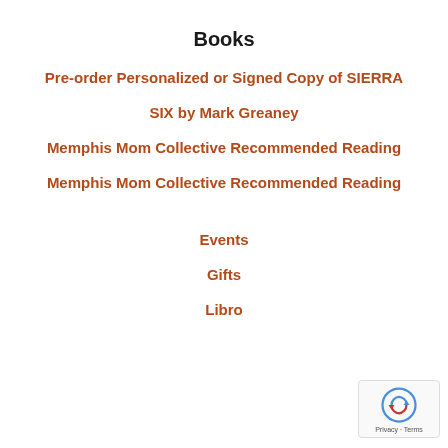Books
Pre-order Personalized or Signed Copy of SIERRA
SIX by Mark Greaney
Memphis Mom Collective Recommended Reading
Memphis Mom Collective Recommended Reading
Events
Gifts
Libro
[Figure (logo): Google reCAPTCHA badge with rotating arrow icon and Privacy - Terms text]